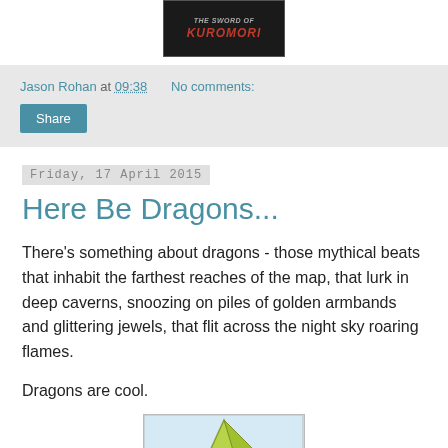[Figure (photo): Book cover image for 'The Sword of Kuromori' with dark background and red title text]
Jason Rohan at 09:38    No comments:
Share
Friday, 17 April 2015
Here Be Dragons...
There's something about dragons - those mythical beats that inhabit the farthest reaches of the map, that lurk in deep caverns, snoozing on piles of golden armbands and glittering jewels, that flit across the night sky roaring flames.
Dragons are cool.
[Figure (illustration): Partial illustration of a dragon, showing yellow-green wing or fin shape on a light blue background]